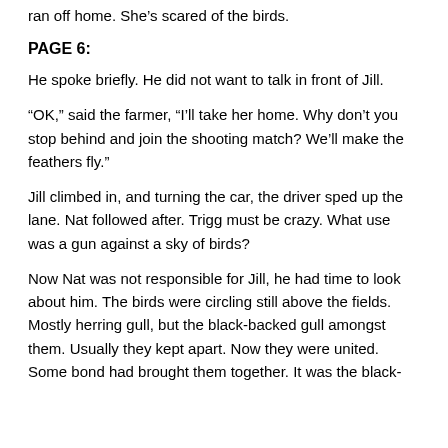ran off home. She's scared of the birds.
PAGE 6:
He spoke briefly. He did not want to talk in front of Jill.
“OK,” said the farmer, “I’ll take her home. Why don’t you stop behind and join the shooting match? We’ll make the feathers fly.”
Jill climbed in, and turning the car, the driver sped up the lane. Nat followed after. Trigg must be crazy. What use was a gun against a sky of birds?
Now Nat was not responsible for Jill, he had time to look about him. The birds were circling still above the fields. Mostly herring gull, but the black-backed gull amongst them. Usually they kept apart. Now they were united. Some bond had brought them together. It was the black-